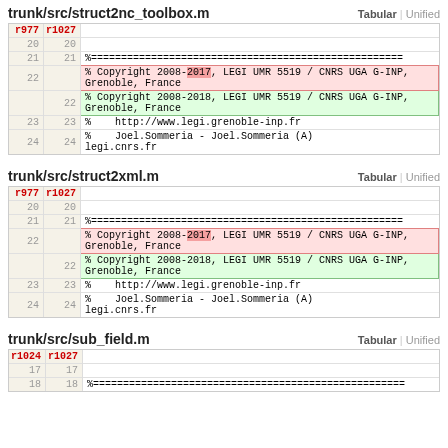trunk/src/struct2nc_toolbox.m   Tabular | Unified
| r977 | r1027 |  |
| --- | --- | --- |
| 20 | 20 |  |
| 21 | 21 | %==================================================== |
| 22 |  | % Copyright 2008-2017, LEGI UMR 5519 / CNRS UGA G-INP, Grenoble, France |
|  | 22 | % Copyright 2008-2018, LEGI UMR 5519 / CNRS UGA G-INP, Grenoble, France |
| 23 | 23 | %    http://www.legi.grenoble-inp.fr |
| 24 | 24 | %    Joel.Sommeria - Joel.Sommeria (A) legi.cnrs.fr |
trunk/src/struct2xml.m   Tabular | Unified
| r977 | r1027 |  |
| --- | --- | --- |
| 20 | 20 |  |
| 21 | 21 | %==================================================== |
| 22 |  | % Copyright 2008-2017, LEGI UMR 5519 / CNRS UGA G-INP, Grenoble, France |
|  | 22 | % Copyright 2008-2018, LEGI UMR 5519 / CNRS UGA G-INP, Grenoble, France |
| 23 | 23 | %    http://www.legi.grenoble-inp.fr |
| 24 | 24 | %    Joel.Sommeria - Joel.Sommeria (A) legi.cnrs.fr |
trunk/src/sub_field.m   Tabular | Unified
| r1024 | r1027 |  |
| --- | --- | --- |
| 17 | 17 |  |
| 18 | 18 | %==================================================== |